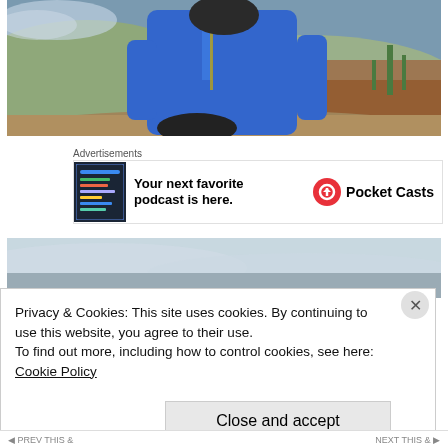[Figure (photo): Person wearing blue jacket outdoors on a dirt road with arid landscape and cacti in the background]
Advertisements
[Figure (illustration): Pocket Casts advertisement: 'Your next favorite podcast is here.' with app screenshot and Pocket Casts logo]
[Figure (photo): Partial view of outdoor landscape with overcast sky]
Privacy & Cookies: This site uses cookies. By continuing to use this website, you agree to their use.
To find out more, including how to control cookies, see here:
Cookie Policy
Close and accept